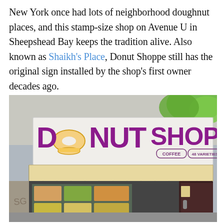New York once had lots of neighborhood doughnut places, and this stamp-size shop on Avenue U in Sheepshead Bay keeps the tradition alive. Also known as Shaikh's Place, Donut Shoppe still has the original sign installed by the shop's first owner decades ago.
[Figure (photo): Exterior photo of Donut Shoppe storefront on Avenue U in Sheepshead Bay, New York. The large sign reads 'DONUT SHOPPE' in large purple letters with a donut illustration, and smaller text below reads 'COFFEE  48 VARIETIES  MUFFINS'. A striped awning hangs below the sign, and the shop window displays food items. Green tree leaves are visible in the upper right corner.]